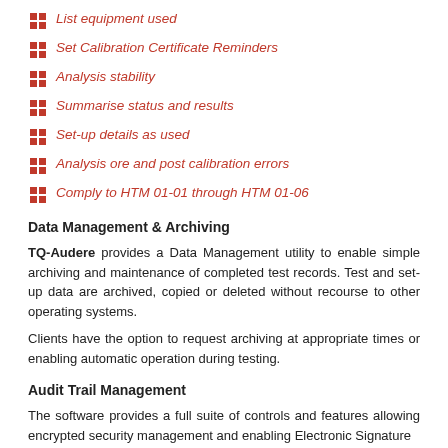List equipment used
Set Calibration Certificate Reminders
Analysis stability
Summarise status and results
Set-up details as used
Analysis ore and post calibration errors
Comply to HTM 01-01 through HTM 01-06
Data Management & Archiving
TQ-Audere provides a Data Management utility to enable simple archiving and maintenance of completed test records. Test and set-up data are archived, copied or deleted without recourse to other operating systems.
Clients have the option to request archiving at appropriate times or enabling automatic operation during testing.
Audit Trail Management
The software provides a full suite of controls and features allowing encrypted security management and enabling Electronic Signature